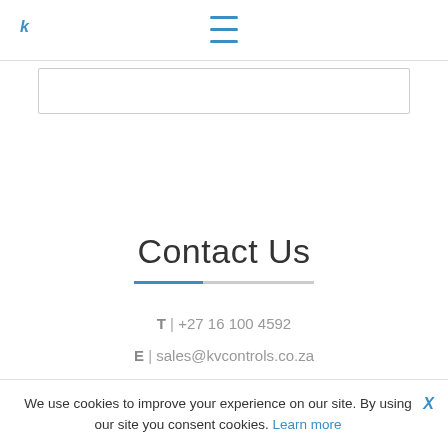KV Controls navigation header with hamburger menu
[Figure (screenshot): Empty search box / input field with border]
Contact Us
T | +27 16 100 4592
E | sales@kvcontrols.co.za
A | 46 Mercury street, Naledi Industrial Park, Sasolburg, 1947
We use cookies to improve your experience on our site. By using our site you consent cookies. Learn more